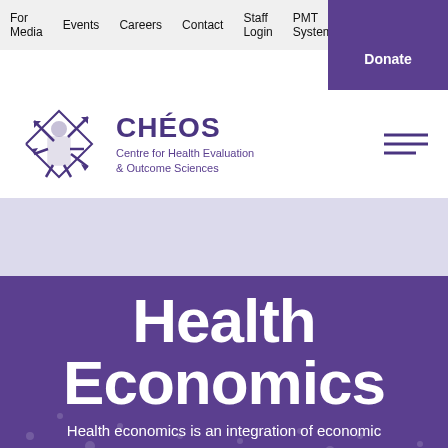For Media  Events  Careers  Contact  Staff Login  PMT Systems  Donate
[Figure (logo): CHÉOS logo — Centre for Health Evaluation & Outcome Sciences with abstract geometric figure graphic in purple]
Health Economics
Health economics is an integration of economic